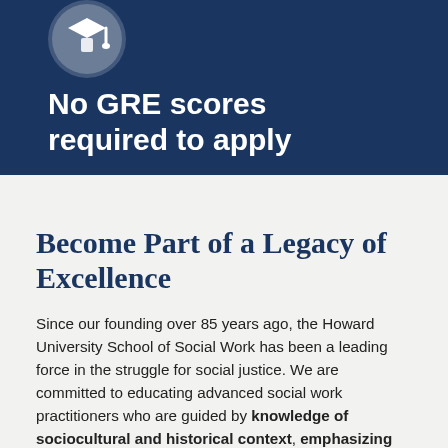[Figure (infographic): Dark navy blue banner with an icon (graduation/document icon in a circle) at the top left, and bold white text reading 'No GRE scores required to apply']
Become Part of a Legacy of Excellence
Since our founding over 85 years ago, the Howard University School of Social Work has been a leading force in the struggle for social justice. We are committed to educating advanced social work practitioners who are guided by knowledge of sociocultural and historical context, emphasizing the importance and the role of the Black...